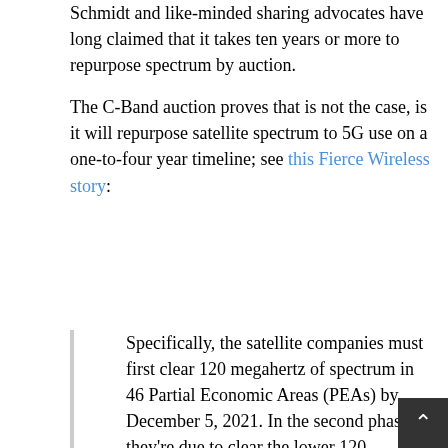Schmidt and like-minded sharing advocates have long claimed that it takes ten years or more to repurpose spectrum by auction.
The C-Band auction proves that is not the case, is it will repurpose satellite spectrum to 5G use on a one-to-four year timeline; see this Fierce Wireless story:
Specifically, the satellite companies must first clear 120 megahertz of spectrum in 46 Partial Economic Areas (PEAs) by December 5, 2021. In the second phase, they're due to clear the lower 120 megahertz in the remaining PEAs, plus an additional 180 megahertz nationwide, by December 5, 2023.
If the companies fulfill these commitments, they'll be eligible for up to $9.7 billion in accelerated relocation payments plus “reasonable” relocation costs, paid for by the new flexible use licensees. If the operators had chosen not to accept accelerated relocation payments, the deadline for clearing the lower 300